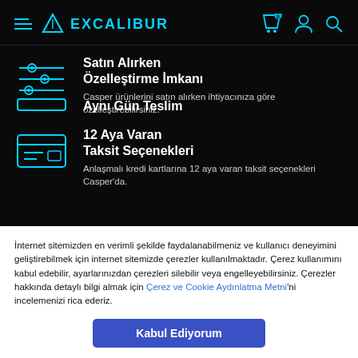[Figure (logo): Excalibur brand logo with cyan triangle icon and EXCALIBUR text in cyan, plus hamburger menu icon on dark background]
[Figure (infographic): Cyan slider/settings icon for customization feature]
Satın Alırken Özelleştirme İmkanı
Casper ürünlerini satın alırken ihtiyacınıza göre özelleştirebilirsiniz.
[Figure (infographic): Cyan credit card icon for installment payment feature]
12 Aya Varan Taksit Seçenekleri
Anlaşmalı kredi kartlarına 12 aya varan taksit seçenekleri Casper'da.
[Figure (infographic): Partially visible cyan icon for same day delivery feature]
Aynı Gün Teslim
İnternet sitemizden en verimli şekilde faydalanabilmeniz ve kullanıcı deneyimini geliştirebilmek için internet sitemizde çerezler kullanılmaktadır. Çerez kullanımını kabul edebilir, ayarlarınızdan çerezleri silebilir veya engelleyebilirsiniz. Çerezler hakkında detaylı bilgi almak için Çerez ve Cookie Aydınlatma Metni'ni incelemenizi rica ederiz.
Kabul Ediyorum